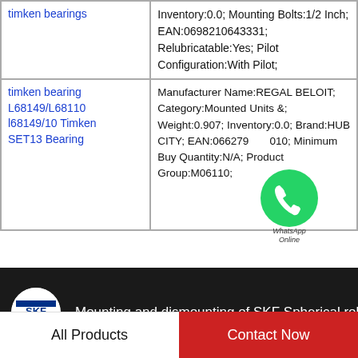| Product | Details |
| --- | --- |
| timken bearings | Inventory:0.0; Mounting Bolts:1/2 Inch; EAN:0698210643331; Relubricatable:Yes; Pilot Configuration:With Pilot; |
| timken bearing L68149/L68110 l68149/10 Timken SET13 Bearing | Manufacturer Name:REGAL BELOIT; Category:Mounted Units &; Weight:0.907; Inventory:0.0; Brand:HUB CITY; EAN:0662790010; Minimum Buy Quantity:N/A; Product Group:M06110; |
[Figure (screenshot): WhatsApp Online contact bubble overlaid on the table]
[Figure (screenshot): SKF video banner - Mounting and dismounting of SKF Spherical rol...]
All Products
Contact Now